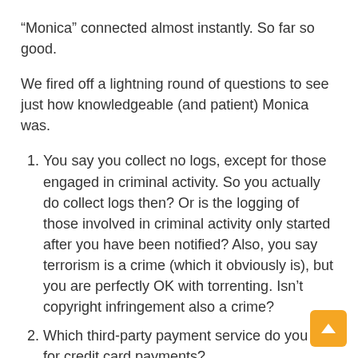“Monica” connected almost instantly. So far so good.
We fired off a lightning round of questions to see just how knowledgeable (and patient) Monica was.
You say you collect no logs, except for those engaged in criminal activity. So you actually do collect logs then? Or is the logging of those involved in criminal activity only started after you have been notified? Also, you say terrorism is a crime (which it obviously is), but you are perfectly OK with torrenting. Isn’t copyright infringement also a crime?
Which third-party payment service do you use for credit card payments?
What encryption standard do you use? AES-256?
Does Goose support the Tor browser and gaming consoles?